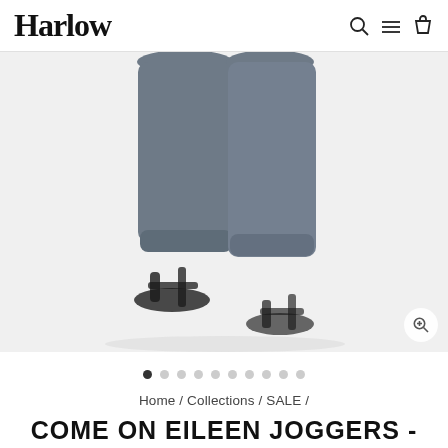Harlow
[Figure (photo): Lower body of a person wearing dark navy/charcoal jogger pants with cuffed ankles and black strappy sandals, standing against a white background. The image shows from approximately mid-thigh down.]
• • • • • • • • • •
Home / Collections / SALE /
COME ON EILEEN JOGGERS -